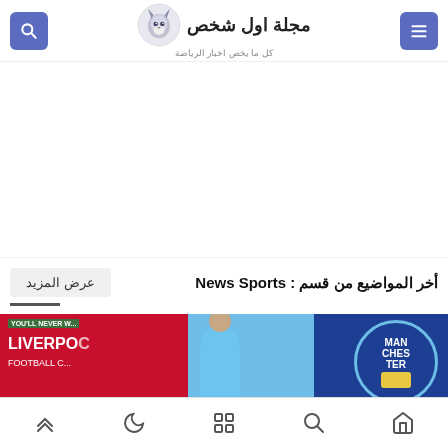مجلة اول شخص - كل ما يخص اخبار الرياضة
[Figure (other): Advertisement banner area (blank white)]
أخر المواضيع من قسم : News Sports
[Figure (photo): Liverpool vs Manchester City football match image showing a player in red Liverpool kit and Manchester City crest]
Bottom navigation bar with home, search, grid, moon/dark mode, and up arrow icons